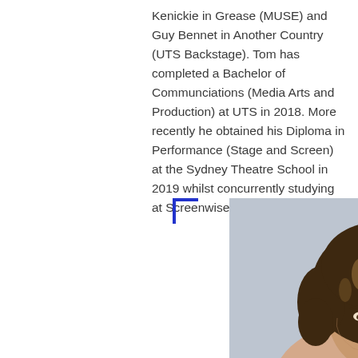Kenickie in Grease (MUSE) and Guy Bennet in Another Country (UTS Backstage). Tom has completed a Bachelor of Communciations (Media Arts and Production) at UTS in 2018. More recently he obtained his Diploma in Performance (Stage and Screen) at the Sydney Theatre School in 2019 whilst concurrently studying at Screenwise.
[Figure (photo): Headshot portrait of a woman with curly brown hair with highlights, looking slightly downward, photographed against a light blue-grey background. Blue corner bracket decorations overlay the top-left and top-right corners of the image. A grey panel with a white upward-pointing arrow is visible on the right side.]